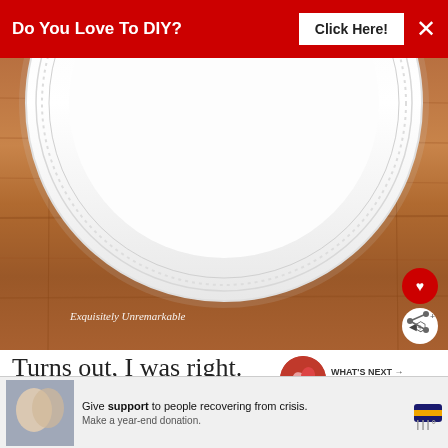[Figure (screenshot): Red advertisement banner at top with text 'Do You Love To DIY?' and a 'Click Here!' button, with an X close button]
[Figure (photo): Photo of a large white decorative plate with beaded edge detail leaning against a wooden paneled background. The plate is white with ornate rim. Watermark text 'Exquisitely Unremarkable' is visible at bottom left. A red heart button and a white share button are overlaid at the bottom right of the image.]
WHAT'S NEXT → Pottery Barn Gift Card...
Turns out, I was right. They look fabulous to...
[Figure (screenshot): Bottom advertisement banner showing a couple image with text 'Give support to people recovering from crisis. Make a year-end donation.' with credit card icon. Close button at top right.]